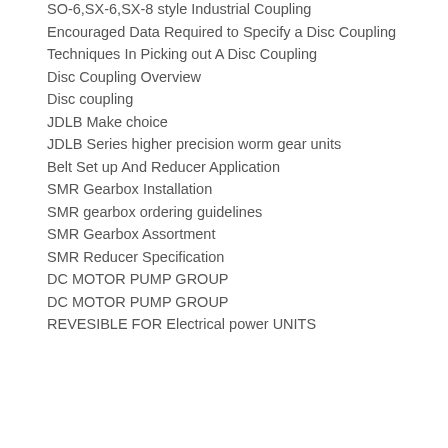SO-6,SX-6,SX-8 style Industrial Coupling
Encouraged Data Required to Specify a Disc Coupling
Techniques In Picking out A Disc Coupling
Disc Coupling Overview
Disc coupling
JDLB Make choice
JDLB Series higher precision worm gear units
Belt Set up And Reducer Application
SMR Gearbox Installation
SMR gearbox ordering guidelines
SMR Gearbox Assortment
SMR Reducer Specification
DC MOTOR PUMP GROUP
DC MOTOR PUMP GROUP
REVESIBLE FOR Electrical power UNITS